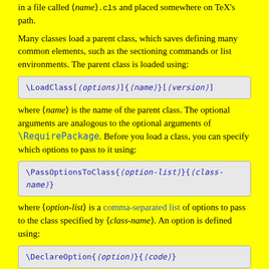in a file called ⟨name⟩.cls and placed somewhere on TeX's path.
Many classes load a parent class, which saves defining many common elements, such as the sectioning commands or list environments. The parent class is loaded using:
where ⟨name⟩ is the name of the parent class. The optional arguments are analogous to the optional arguments of \RequirePackage. Before you load a class, you can specify which options to pass to it using:
where ⟨option-list⟩ is a comma-separated list of options to pass to the class specified by ⟨class-name⟩. An option is defined using: